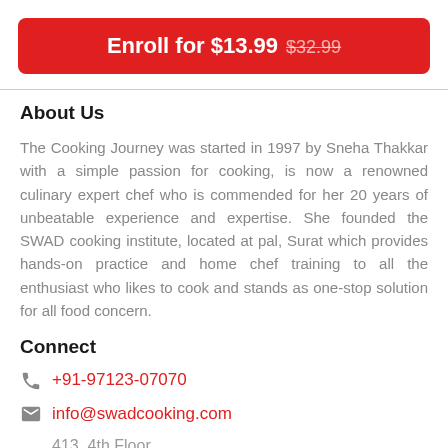Enroll for $13.99 $32.99
About Us
The Cooking Journey was started in 1997 by Sneha Thakkar with a simple passion for cooking, is now a renowned culinary expert chef who is commended for her 20 years of unbeatable experience and expertise. She founded the SWAD cooking institute, located at pal, Surat which provides hands-on practice and home chef training to all the enthusiast who likes to cook and stands as one-stop solution for all food concern.
Connect
+91-97123-07070
info@swadcooking.com
413, 4th Floor
Marvella business hub